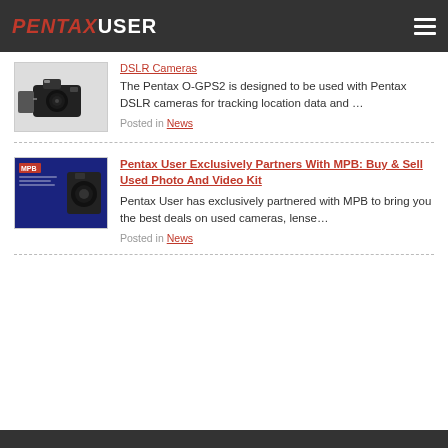PENTAXUSER
[Figure (photo): Pentax DSLR camera with GPS accessory attached]
DSLR Cameras
The Pentax O-GPS2 is designed to be used with Pentax DSLR cameras for tracking location data and …
Posted in News
[Figure (photo): MPB advertisement banner with camera image on dark blue background]
Pentax User Exclusively Partners With MPB: Buy & Sell Used Photo And Video Kit
Pentax User has exclusively partnered with MPB to bring you the best deals on used cameras, lense…
Posted in News